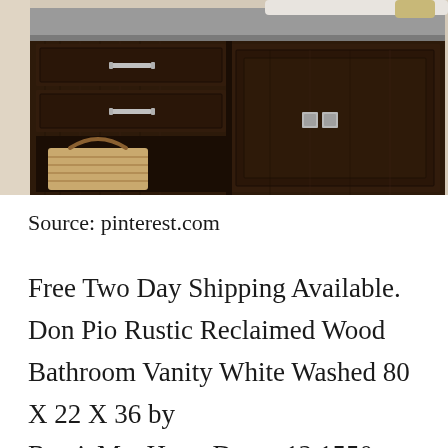[Figure (photo): Bathroom vanity with dark brown wood cabinets, silver drawer handles, a woven basket underneath, and a gray stone countertop with a white sink visible at the top.]
Source: pinterest.com
Free Two Day Shipping Available. Don Pio Rustic Reclaimed Wood Bathroom Vanity White Washed 80 X 22 X 36 by RusticManHomeDecor 12 1550. Above the counter – Warrant [CLOSE X] Hundreds of